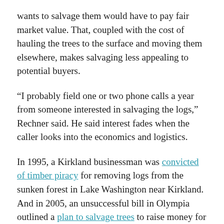wants to salvage them would have to pay fair market value. That, coupled with the cost of hauling the trees to the surface and moving them elsewhere, makes salvaging less appealing to potential buyers.
“I probably field one or two phone calls a year from someone interested in salvaging the logs,” Rechner said. He said interest fades when the caller looks into the economics and logistics.
In 1995, a Kirkland businessman was convicted of timber piracy for removing logs from the sunken forest in Lake Washington near Kirkland. And in 2005, an unsuccessful bill in Olympia outlined a plan to salvage trees to raise money for the Burke Museum at the University of Washington.
For now, at least, the underwater forests will remain at the bottom [Feedback] kes — and that’s fine with the folks